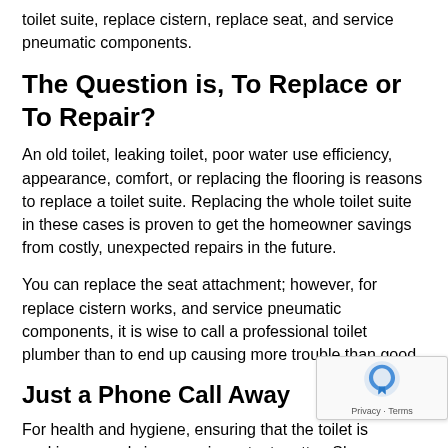toilet suite, replace cistern, replace seat, and service pneumatic components.
The Question is, To Replace or To Repair?
An old toilet, leaking toilet, poor water use efficiency, appearance, comfort, or replacing the flooring is reasons to replace a toilet suite. Replacing the whole toilet suite in these cases is proven to get the homeowner savings from costly, unexpected repairs in the future.
You can replace the seat attachment; however, for replace cistern works, and service pneumatic components, it is wise to call a professional toilet plumber than to end up causing more trouble than good.
Just a Phone Call Away
For health and hygiene, ensuring that the toilet is working properly is a very important matter. Shou…